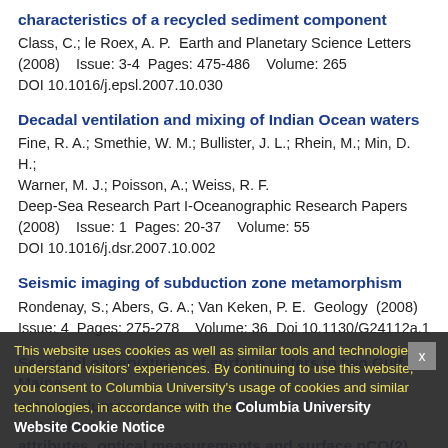characteristics of a recycled sediment component
Class, C.; le Roex, A. P.  Earth and Planetary Science Letters (2008)    Issue: 3-4  Pages: 475-486    Volume: 265 DOI 10.1016/j.epsl.2007.10.030
Decadal ventilation and mixing of Indian Ocean waters
Fine, R. A.; Smethie, W. M.; Bullister, J. L.; Rhein, M.; Min, D. H.; Warner, M. J.; Poisson, A.; Weiss, R. F. Deep-Sea Research Part I-Oceanographic Research Papers (2008)    Issue: 1  Pages: 20-37    Volume: 55 DOI 10.1016/j.dsr.2007.10.002
Seismic imaging of subduction zone metamorphism
Rondenay, S.; Abers, G. A.; Van Keken, P. E.  Geology  (2008) Issue: 4  Pages: 275-278    Volume: 36  Doi 10.1130/G24112a.1
Seasonal observations of surface waters in two Gulf of Maine estuary plume systems: Relationships between watershed attributes, optical measurements and surface pCO(2)
Salisbury, J. E.; Vandemark, D.; Hunt, C. W.; Campbell, J. W.; McCullis, W. R.; McDowell, W. H. Estuarine Coastal and Shelf Science  (2008)   Issue: 2 Pages: 245-252    Volume: 77  DOI 10.1016/j.ecss.2007.09.033